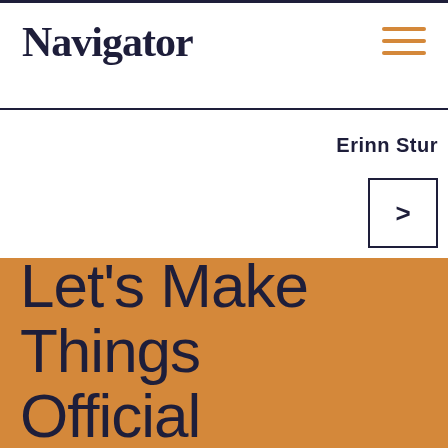Navigator
Erinn Stur
[Figure (other): Navigation arrow button pointing right, within a rectangular border]
Let's Make Things Official